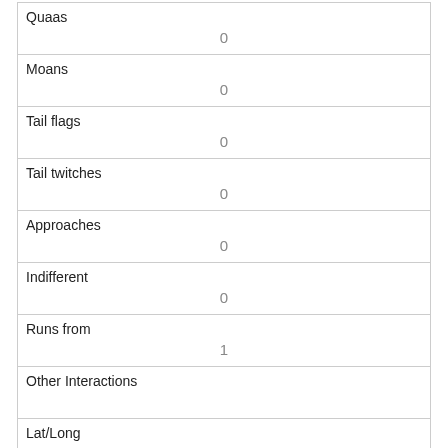| Field | Value |
| --- | --- |
| Quaas | 0 |
| Moans | 0 |
| Tail flags | 0 |
| Tail twitches | 0 |
| Approaches | 0 |
| Indifferent | 0 |
| Runs from | 1 |
| Other Interactions |  |
| Lat/Long | POINT (-73.9708564226824 40.7726219968014) |
| Link |
| --- |